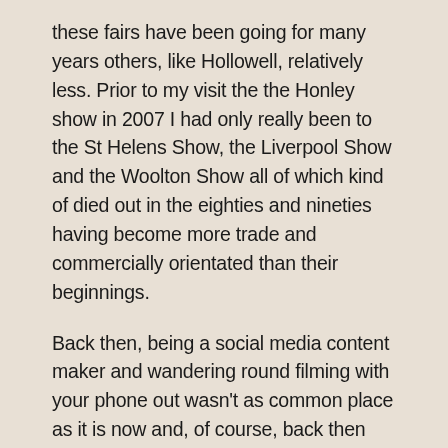these fairs have been going for many years others, like Hollowell, relatively less. Prior to my visit the the Honley show in 2007 I had only really been to the St Helens Show, the Liverpool Show and the Woolton Show all of which kind of died out in the eighties and nineties having become more trade and commercially orientated than their beginnings.
Back then, being a social media content maker and wandering round filming with your phone out wasn't as common place as it is now and, of course, back then there were fewer platforms to publish your output. Mine was (and to some extent still is) Livejournal. However, these limitations didnt stop me and so, I walked